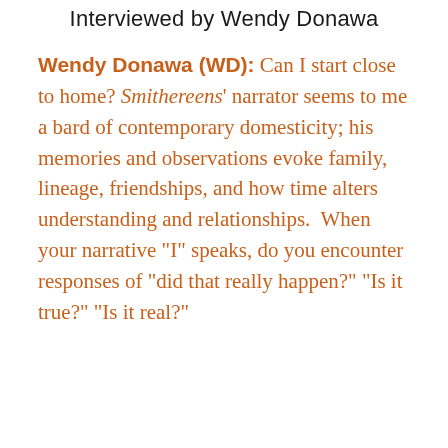Interviewed by Wendy Donawa
Wendy Donawa (WD): Can I start close to home? Smithereens' narrator seems to me a bard of contemporary domesticity; his memories and observations evoke family, lineage, friendships, and how time alters understanding and relationships.  When your narrative “I” speaks, do you encounter responses of “did that really happen?” “Is it true?” “Is it real?”